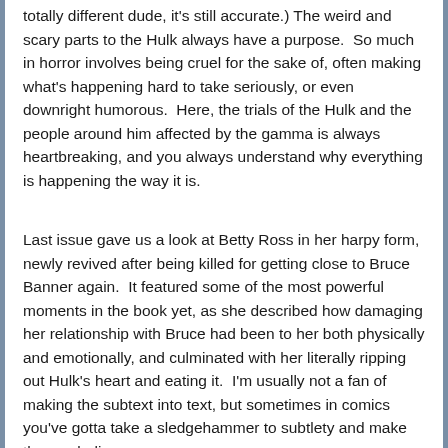totally different dude, it's still accurate.) The weird and scary parts to the Hulk always have a purpose.  So much in horror involves being cruel for the sake of, often making what's happening hard to take seriously, or even downright humorous.  Here, the trials of the Hulk and the people around him affected by the gamma is always heartbreaking, and you always understand why everything is happening the way it is.
Last issue gave us a look at Betty Ross in her harpy form, newly revived after being killed for getting close to Bruce Banner again.  It featured some of the most powerful moments in the book yet, as she described how damaging her relationship with Bruce had been to her both physically and emotionally, and culminated with her literally ripping out Hulk's heart and eating it.  I'm usually not a fan of making the subtext into text, but sometimes in comics you've gotta take a sledgehammer to subtlety and make the symbolism